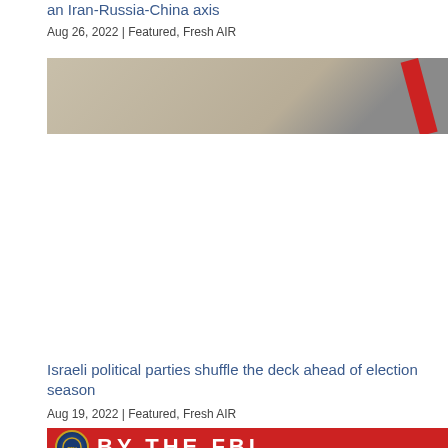an Iran-Russia-China axis
Aug 26, 2022 | Featured, Fresh AIR
[Figure (photo): Partial view of a beige/tan surface with a red diagonal stripe element in the upper right corner]
Israeli political parties shuffle the deck ahead of election season
Aug 19, 2022 | Featured, Fresh AIR
[Figure (photo): Red banner with FBI seal logo on the left and large bold white text reading 'BY THE FBI']